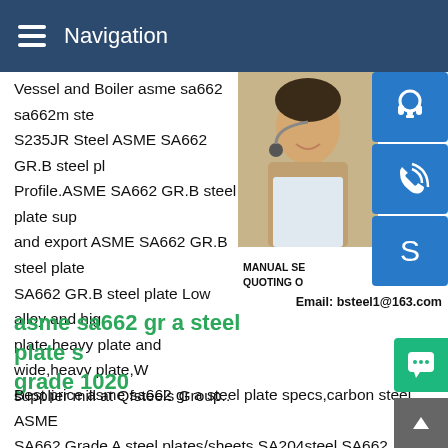Navigation
Vessel and Boiler asme sa662 sa662m ste S235JR Steel ASME SA662 GR.B steel pl Profile.ASME SA662 GR.B steel plate sup and export ASME SA662 GR.B steel plate SA662 GR.B steel plate Low alloy and hig plate,heavy plate and wide,heavy plate,W supplier mill at Qfsteels Group..
[Figure (photo): Woman with headset customer service photo with blue icon buttons for customer support, phone, and Skype contact. Manual SE / Quoting O overlay text visible.]
asme sa662 gr a steel plate s grade 1020
Email: bsteel1@163.com
Best price asme sa662 gr a steel plate specs,carbon steel ASME SA662 Grade A steel plates/sheets SA204steel.SA662 Grade A is a kind of Carbon Mn steel plates material used to fabric middle o temperature vessels.Obviously,ASME SA662 is divid into three grades or levels :SA662 Gr.asme sa622 sa622m proizvajalci in dobavitelji-KN95 MASKS asme sa622 factory -